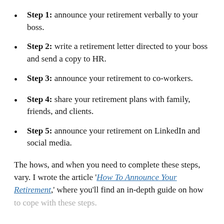Step 1: announce your retirement verbally to your boss.
Step 2: write a retirement letter directed to your boss and send a copy to HR.
Step 3: announce your retirement to co-workers.
Step 4: share your retirement plans with family, friends, and clients.
Step 5: announce your retirement on LinkedIn and social media.
The hows, and when you need to complete these steps, vary. I wrote the article 'How To Announce Your Retirement,' where you'll find an in-depth guide on how to cope with these steps.